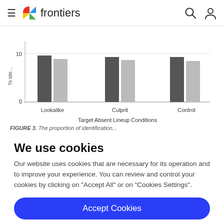frontiers
[Figure (bar-chart): Grouped bar chart showing percent identifications for Lookalike, Culprit, and Control conditions. Each condition has two bars (dark and light gray). Y-axis shows 0 and 10.]
FIGURE 3. The proportion of identification...
We use cookies
Our website uses cookies that are necessary for its operation and to improve your experience. You can review and control your cookies by clicking on "Accept All" or on "Cookies Settings".
Accept Cookies
Cookies Settings